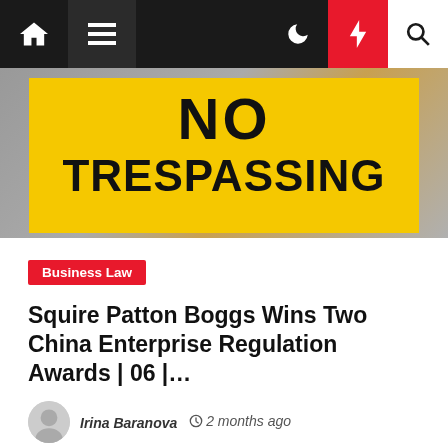Navigation bar with home, menu, moon, flash, search icons
[Figure (photo): Yellow 'NO TRESPASSING' sign with dark background]
Business Law
Squire Patton Boggs Wins Two China Enterprise Regulation Awards | 06 |…
Irina Baranova  2 months ago
[Figure (photo): Gray placeholder image for a second article]